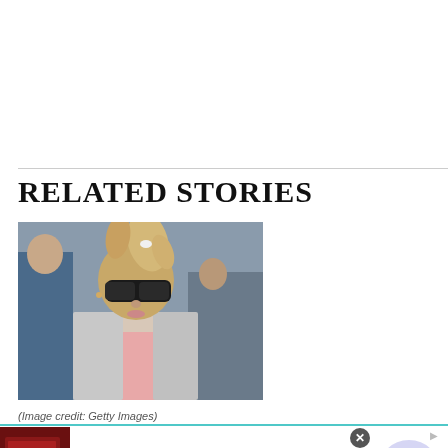RELATED STORIES
[Figure (photo): A woman with blonde hair in a high ponytail wearing large dark sunglasses and a light pink/silver jacket, photographed outdoors with people in the background]
(Image credit: Getty Images)
[Figure (other): Advertisement for Dickies Official Site - Workwear and Apparel. Text: 'Dickies® | Official Site | Workwear & Apparel', 'for work pants, work shirts, overalls, and coveralls.', 'www.dickies.com']